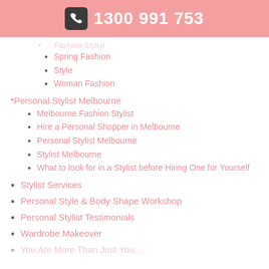1300 991 753
Spring Fashion
Style
Woman Fashion
Personal Stylist Melbourne
Melbourne Fashion Stylist
Hire a Personal Shopper in Melbourne
Personal Stylist Melbourne
Stylist Melbourne
What to look for in a Stylist before Hiring One for Yourself
Stylist Services
Personal Style & Body Shape Workshop
Personal Stylist Testimonials
Wardrobe Makeover
You Are More Than Just Your...